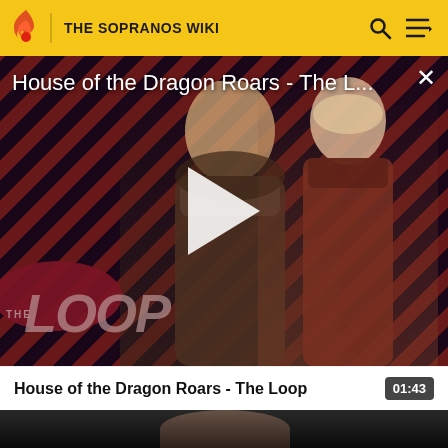THE SOPRANOS WIKI
[Figure (screenshot): Video popup overlay showing 'House of the Dragon Roars - The L...' with play button, diagonal red and dark stripe background, two characters visible, The Loop logo in lower left, and X close button]
House of the Dragon Roars - The Loop
01:43
[Figure (screenshot): Dark video thumbnail showing top of a person's head against black background]